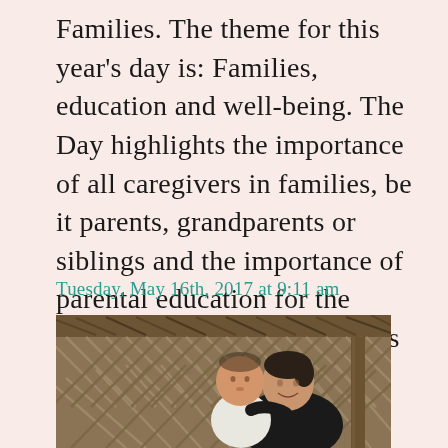Families.  The theme for this year's day is: Families, education and well-being. The Day highlights the importance of all caregivers in families, be it parents, grandparents or siblings and the importance of parental education for the welfare of children. It focuses on...
Tuesday, May 16th, 2017 at 9:11 am
[Figure (photo): A woman holding a young toddler/baby in front of a woven bamboo/wooden lattice wall with a thatched roof visible at the top. The woman is smiling and wearing a dark top; the child is wearing a white top.]